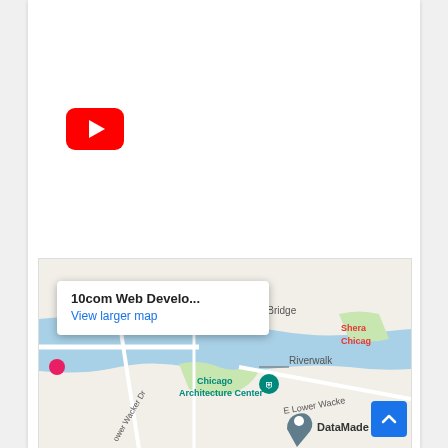[Figure (logo): YouTube app icon — red rounded square with white play button triangle]
[Figure (map): Google Maps embed showing Chicago Riverwalk area with markers for Chicago Architecture Center, DataMade, and Sheraton Chicago. Popup tooltip reads '10com Web Develo...' with 'View larger map' link.]